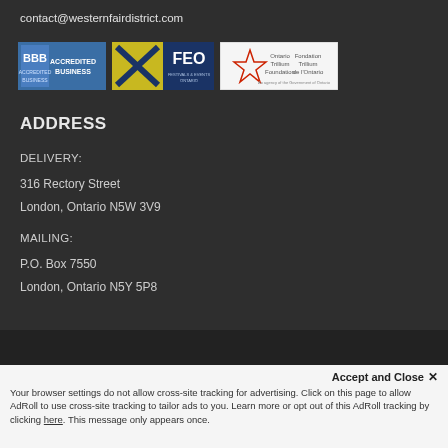contact@westernfairdistrict.com
[Figure (logo): Three logos: BBB Accredited Business, FEO Festivals & Events Ontario, Ontario Trillium Foundation]
ADDRESS
DELIVERY:
316 Rectory Street
London, Ontario N5W 3V9
MAILING:
P.O. Box 7550
London, Ontario N5Y 5P8
© WESTERN FAIR DISTRICT 2015 | ALL RIGHTS RESERVED | PRIVACY...
Accept and Close ✕
Your browser settings do not allow cross-site tracking for advertising. Click on this page to allow AdRoll to use cross-site tracking to tailor ads to you. Learn more or opt out of this AdRoll tracking by clicking here. This message only appears once.